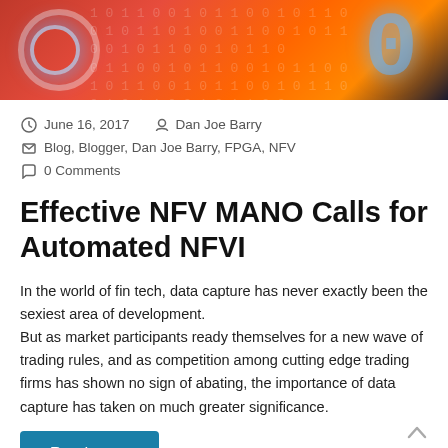[Figure (photo): Hero image with red and orange digital/binary data background with glowing blue circular element and large '0' numeral on the right side]
June 16, 2017   Dan Joe Barry
Blog, Blogger, Dan Joe Barry, FPGA, NFV
0 Comments
Effective NFV MANO Calls for Automated NFVI
In the world of fin tech, data capture has never exactly been the sexiest area of development.
But as market participants ready themselves for a new wave of trading rules, and as competition among cutting edge trading firms has shown no sign of abating, the importance of data capture has taken on much greater significance.